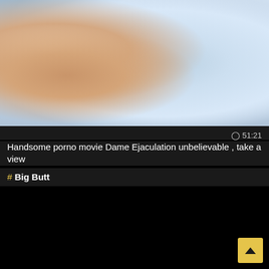[Figure (photo): Video thumbnail showing a close-up of a person holding a smartphone, wearing a light blue pleated top, outdoors]
⊙ 51:21
Handsome porno movie Dame Ejaculation unbelievable , take a view
# Big Butt
[Figure (photo): Video thumbnail showing a smiling woman with brown hair in a dark room]